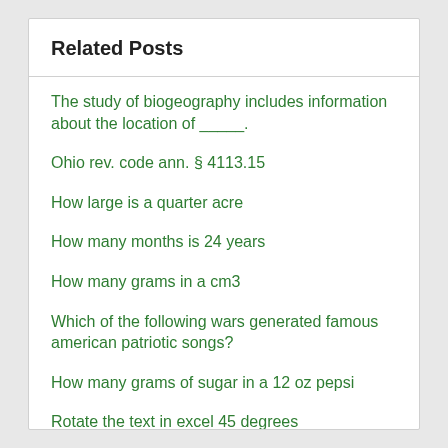Related Posts
The study of biogeography includes information about the location of _____.
Ohio rev. code ann. § 4113.15
How large is a quarter acre
How many months is 24 years
How many grams in a cm3
Which of the following wars generated famous american patriotic songs?
How many grams of sugar in a 12 oz pepsi
Rotate the text in excel 45 degrees